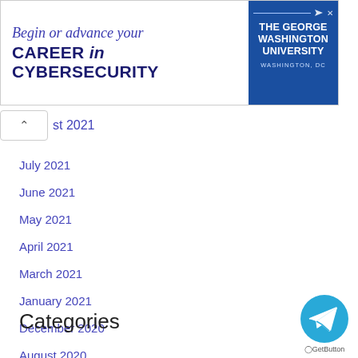[Figure (screenshot): Advertisement banner for The George Washington University Cybersecurity program. Text reads 'Begin or advance your CAREER in CYBERSECURITY' with the university logo on the right side.]
st 2021
July 2021
June 2021
May 2021
April 2021
March 2021
January 2021
December 2020
August 2020
June 2020
Categories